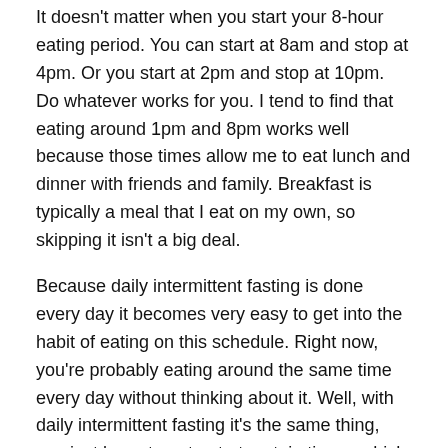It doesn't matter when you start your 8-hour eating period. You can start at 8am and stop at 4pm. Or you start at 2pm and stop at 10pm. Do whatever works for you. I tend to find that eating around 1pm and 8pm works well because those times allow me to eat lunch and dinner with friends and family. Breakfast is typically a meal that I eat on my own, so skipping it isn't a big deal.
Because daily intermittent fasting is done every day it becomes very easy to get into the habit of eating on this schedule. Right now, you're probably eating around the same time every day without thinking about it. Well, with daily intermittent fasting it's the same thing, you just learn to not eat at certain times, which is remarkably easy.
Weekly Intermittent Fasting
One of the best ways to get started with intermittent fasting